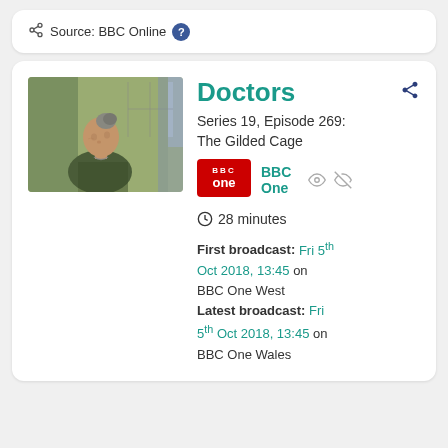Source: BBC Online
[Figure (photo): Elderly woman with grey hair in a bun, wearing a dark patterned top, seated indoors with soft natural light in background.]
Doctors
Series 19, Episode 269: The Gilded Cage
[Figure (logo): BBC One red logo badge]
BBC One
28 minutes
First broadcast: Fri 5th Oct 2018, 13:45 on BBC One West
Latest broadcast: Fri 5th Oct 2018, 13:45 on BBC One Wales